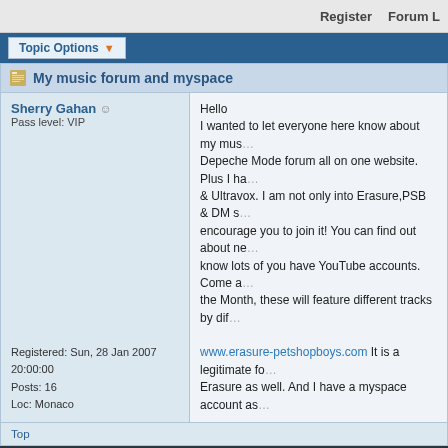Register   Forum L
Topic Options
My music forum and myspace
Sherry Gahan
Pass level: VIP
Registered: Sun, 28 Jan 2007 20:00:00
Posts: 16
Loc: Monaco
Hello
I wanted to let everyone here know about my mus... Depeche Mode forum all on one website. Plus I ha... & Ultravox. I am not only into Erasure,PSB & DM s... encourage you to join it! You can find out about ne... know lots of you have YouTube accounts. Come a... the Month, these will feature different tracks by dif...
www.erasure-petshopboys.com It is a legitimate fo... Erasure as well. And I have a myspace account as...
Re: My music forum and myspace
Sherry Gahan
Pass level: VIP
Registered: Sun, 28 Jan 2007 20:00:00
Posts: 16
Loc: Monaco
I have a Chat Room installed now on my forum, it... and check it out
http://www.tennant-lowe.com/chat/chat/index.php...
THis is the link for the Chat Room, it can be locate...
Hope to see you there!